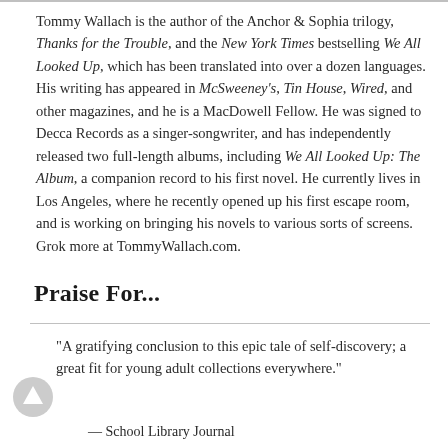Tommy Wallach is the author of the Anchor & Sophia trilogy, Thanks for the Trouble, and the New York Times bestselling We All Looked Up, which has been translated into over a dozen languages. His writing has appeared in McSweeney's, Tin House, Wired, and other magazines, and he is a MacDowell Fellow. He was signed to Decca Records as a singer-songwriter, and has independently released two full-length albums, including We All Looked Up: The Album, a companion record to his first novel. He currently lives in Los Angeles, where he recently opened up his first escape room, and is working on bringing his novels to various sorts of screens. Grok more at TommyWallach.com.
Praise For...
"A gratifying conclusion to this epic tale of self-discovery; a great fit for young adult collections everywhere."
— School Library Journal